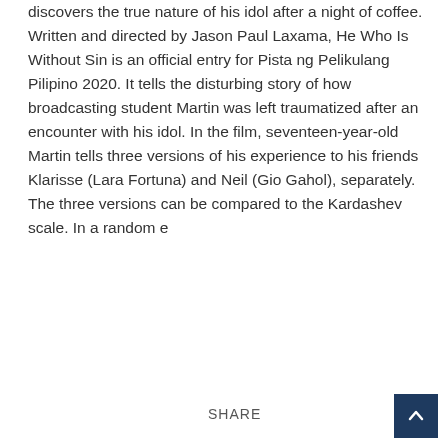discovers the true nature of his idol after a night of coffee.  Written and directed by Jason Paul Laxama, He Who Is Without Sin is an official entry for Pista ng Pelikulang Pilipino 2020. It tells the disturbing story of how broadcasting student Martin was left traumatized after an encounter with his idol. In the film, seventeen-year-old Martin tells three versions of his experience to his friends Klarisse (Lara Fortuna) and Neil (Gio Gahol), separately.  The three versions can be compared to the Kardashev scale. In a random e
Read More
SHARE